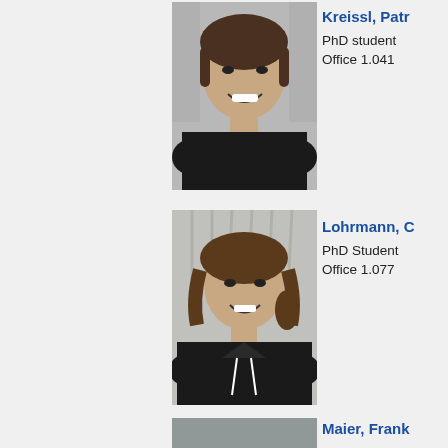[Figure (photo): Headshot photo of Kreissl, a young man with short dark hair, smiling, wearing a dark shirt]
Kreissl, Patr
PhD student
Office 1.041
[Figure (photo): Headshot photo of Lohrmann, a young man with longer wavy hair pulled back, smiling, wearing a dark hoodie]
Lohrmann, C
PhD Student
Office 1.077
[Figure (photo): Partial headshot photo of Maier, Frank (cut off at bottom of page)]
Maier, Frank